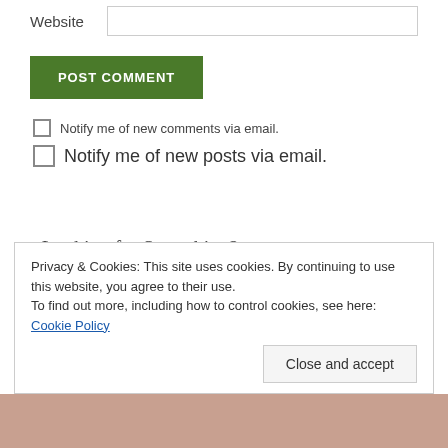Website
POST COMMENT
Notify me of new comments via email.
Notify me of new posts via email.
- Looking for Something? -
Privacy & Cookies: This site uses cookies. By continuing to use this website, you agree to their use.
To find out more, including how to control cookies, see here: Cookie Policy
Close and accept